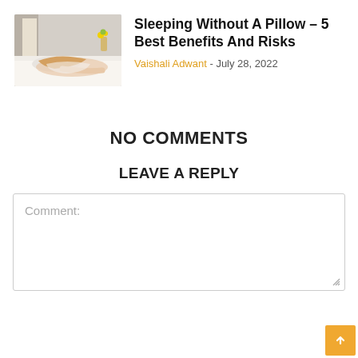[Figure (photo): Thumbnail photo of a woman sleeping on a bed without a pillow, lying face-down, with white bedding and a yellow flower vase in background]
Sleeping Without A Pillow – 5 Best Benefits And Risks
Vaishali Adwant - July 28, 2022
NO COMMENTS
LEAVE A REPLY
Comment: